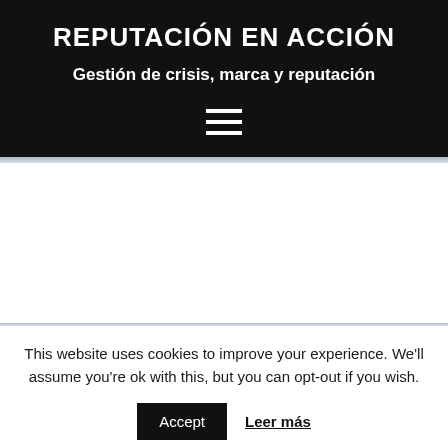REPUTACIÓN EN ACCIÓN
Gestión de crisis, marca y reputación
[Figure (other): Hamburger menu icon (three horizontal white lines)]
This website uses cookies to improve your experience. We'll assume you're ok with this, but you can opt-out if you wish.
Accept   Leer más